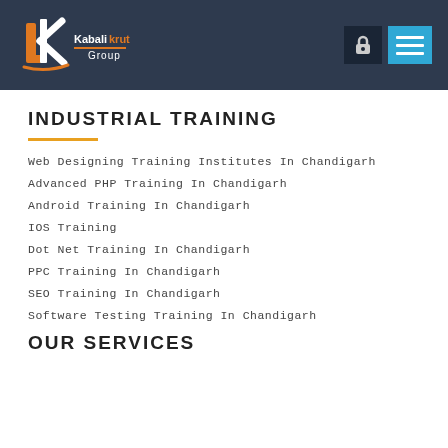Kabalikrut Group
INDUSTRIAL TRAINING
Web Designing Training Institutes In Chandigarh
Advanced PHP Training In Chandigarh
Android Training In Chandigarh
IOS Training
Dot Net Training In Chandigarh
PPC Training In Chandigarh
SEO Training In Chandigarh
Software Testing Training In Chandigarh
OUR SERVICES